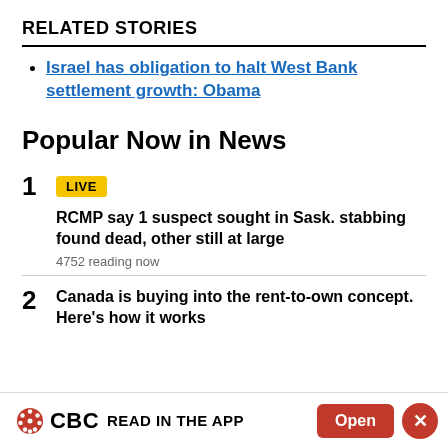RELATED STORIES
Israel has obligation to halt West Bank settlement growth: Obama
Popular Now in News
1 LIVE
RCMP say 1 suspect sought in Sask. stabbing found dead, other still at large
4752 reading now
2 Canada is buying into the rent-to-own concept. Here's how it works
CBC READ IN THE APP  Open